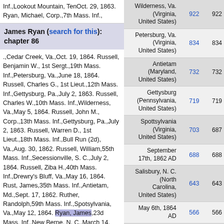Inf.,Lookout Mountain, TenOct. 29, 1863. Ryan, Michael, Corp.,7th Mass. Inf.,
James Ryan (search for this): chapter 86
.,Cedar Creek, Va.,Oct. 19, 1864. Russell, Benjamin W., 1st Sergt.,19th Mass. Inf.,Petersburg, Va.,June 18, 1864. Russell, Charles G., 1st Lieut.,12th Mass. Inf.,Gettysburg, Pa.,July 2, 1863. Russell, Charles W.,10th Mass. Inf.,Wilderness, Va.,May 5, 1864. Russell, John M., Corp.,13th Mass. Inf.,Gettysburg, Pa.,July 2, 1863. Russell, Warren D., 1st Lieut.,18th Mass. Inf.,Bull Run (2d), Va.,Aug. 30, 1862. Russell, William,55th Mass. Inf.,Secessionville, S. C.,July 2, 1864. Russell, Ziba H.,40th Mass. Inf.,Drewry's Bluff, Va.,May 16, 1864. Rust, James,35th Mass. Inf.,Antietam, Md.,Sept. 17, 1862. Ruther, Randolph,59th Mass. Inf.,Spotsylvania, Va.,May 12, 1864. Ryan, James,23d Mass. Inf.,New Berne, N. C.,March 14, 1862. Ryan, John, 2d,33d Mass. Inf.,Lookout Mountain, TenOct. 29, 1863. Ryan, Michael, Corp.,7th Mass. Inf.,Salem Heights, Va.,May 3, 1863. Ryan, Patrick,2d Mass. H. A.,Plymouth, N.
| Place | Col1 | Col2 |
| --- | --- | --- |
| Wilderness, Va. (Virginia, United States) | 922 | 922 |
| Petersburg, Va. (Virginia, United States) | 834 | 834 |
| Antietam (Maryland, United States) | 732 | 732 |
| Gettysburg (Pennsylvania, United States) | 719 | 719 |
| Spottsylvania (Virginia, United States) | 703 | 687 |
| September 17th, 1862 AD | 688 | 688 |
| Salisbury, N. C. (North Carolina, United States) | 643 | 643 |
| May 6th, 1864 AD | 566 | 566 |
| Fredericksburg, Va. (Virginia, United States) | 461 | 449 |